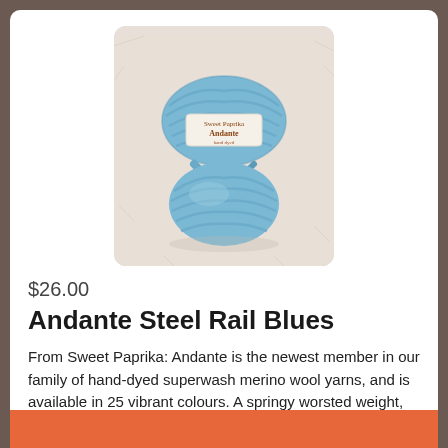[Figure (photo): A skein of blue hand-dyed yarn (Andante Steel Rail Blues) with a label reading 'Sweet Paprika Andante', photographed on a white fluffy surface.]
$26.00
Andante Steel Rail Blues
From Sweet Paprika: Andante is the newest member in our family of hand-dyed superwash merino wool yarns, and is available in 25 vibrant colours. A springy worsted weight, this yarn knits up quickly and is a great choice for easy-care children's garments,